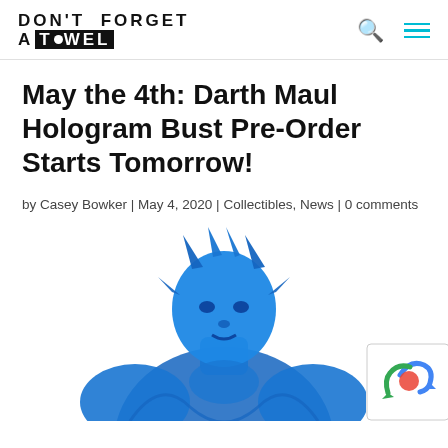DON'T FORGET A TOWEL
May the 4th: Darth Maul Hologram Bust Pre-Order Starts Tomorrow!
by Casey Bowker | May 4, 2020 | Collectibles, News | 0 comments
[Figure (photo): Blue hologram-style collectible bust of Darth Maul, partially cropped at bottom of page. A reCAPTCHA badge is visible in the lower right corner.]